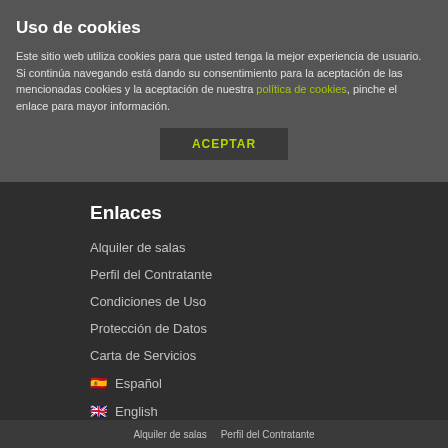Uso de cookies
Este sitio web utiliza cookies para que usted tenga la mejor experiencia de usuario. Si continúa navegando está dando su consentimiento para la aceptación de las mencionadas cookies y la aceptación de nuestra política de cookies, pinche el enlace para mayor información.
ACEPTAR
Enlaces
Alquiler de salas
Perfil del Contratante
Condiciones de Uso
Protección de Datos
Carta de Servicios
🇪🇸 Español
🇬🇧 English
Alquiler de salas   Perfil del Contratante